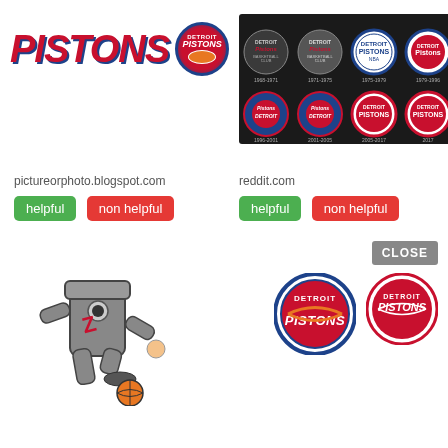[Figure (logo): Detroit Pistons wordmark logo with PISTONS text in red italic and circular Detroit Pistons badge]
[Figure (illustration): Grid of 8 Detroit Pistons historical logos on dark background showing evolution from 1968 to 2017]
pictureorphoto.blogspot.com
helpful
non helpful
reddit.com
helpful
non helpful
[Figure (illustration): Detroit Pistons mascot - cartoon character made of engine pistons playing basketball]
[Figure (logo): Detroit Pistons circular logo - current style with red/blue/white]
[Figure (logo): Detroit Pistons circular logo - older style]
CLOSE